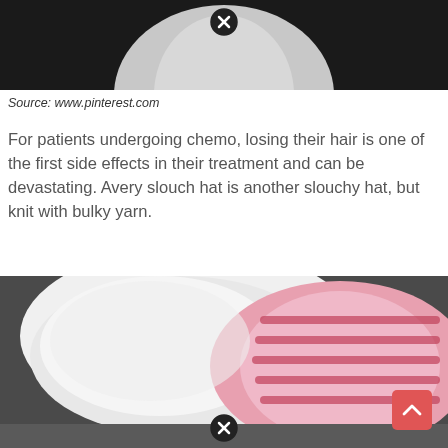[Figure (photo): Top portion of a photo showing a mannequin head with a dark/black background and white/grey neck area visible at top of page, with a close/X button overlay at top center]
Source: www.pinterest.com
For patients undergoing chemo, losing their hair is one of the first side effects in their treatment and can be devastating. Avery slouch hat is another slouchy hat, but knit with bulky yarn.
[Figure (photo): Photo of two knitted slouch hats on a mannequin head — one white cable-knit and one with a pink and white striped/patterned design — with a close/X button overlay at the bottom center and an orange/red scroll-up arrow button at bottom right]